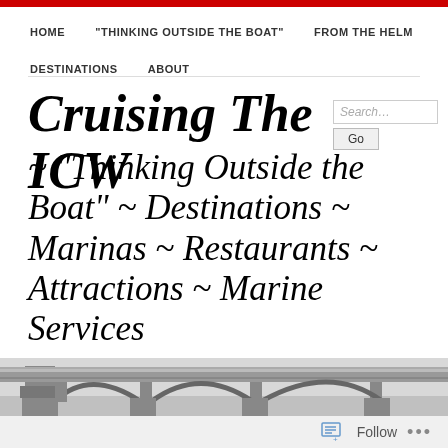HOME  "THINKING OUTSIDE THE BOAT"  FROM THE HELM  DESTINATIONS  ABOUT
Cruising The ICW
~ "Thinking Outside the Boat" ~ Destinations ~ Marinas ~ Restaurants ~ Attractions ~ Marine Services
[Figure (photo): Photo of a bridge over water, appearing to be a drawbridge or highway overpass, viewed from water level.]
Follow  ...